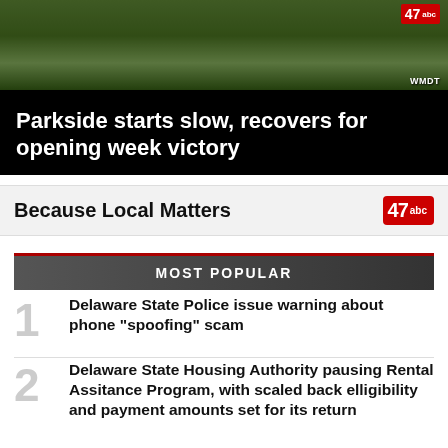[Figure (photo): Sports action photo showing football players on a green field with a 47 ABC / WMDT watermark in the top right corner]
Parkside starts slow, recovers for opening week victory
Because Local Matters
MOST POPULAR
1. Delaware State Police issue warning about phone "spoofing" scam
2. Delaware State Housing Authority pausing Rental Assitance Program, with scaled back elligibility and payment amounts set for its return